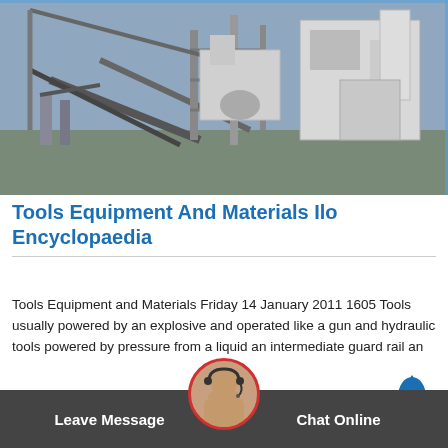[Figure (photo): Industrial equipment / construction site with cranes, steel structures, conveyor belts, and large white industrial machines against a blue sky]
Tools Equipment And Materials Ilo Encyclopaedia
Tools Equipment and Materials Friday 14 January 2011 1605 Tools usually powered by an explosive and operated like a gun and hydraulic tools powered by pressure from a liquid an intermediate guard rail an
Get Price
Leave Message
Chat Online